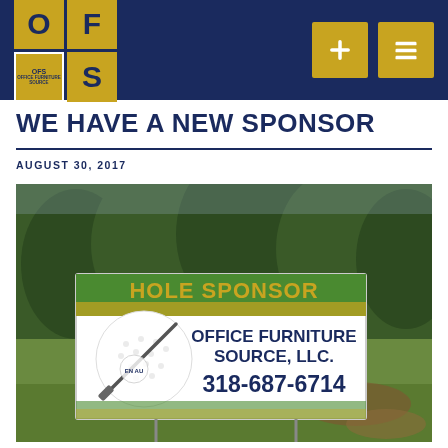OFS Office Furniture Source logo and navigation header
WE HAVE A NEW SPONSOR
AUGUST 30, 2017
[Figure (photo): Outdoor golf course hole sponsor sign on a stake in grass with trees in background. Sign reads: HOLE SPONSOR / OFFICE FURNITURE SOURCE, LLC. / 318-687-6714, with a golf ball graphic and logo.]